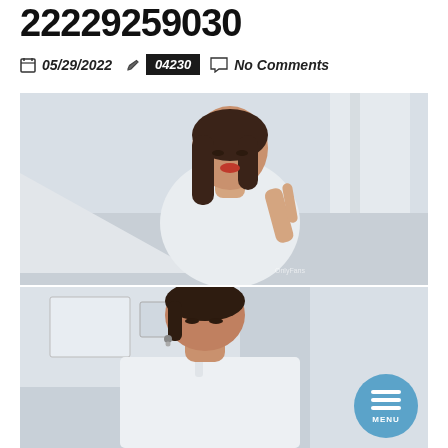22229259030
05/29/2022  ✏  04230  💬 No Comments
[Figure (photo): Woman in white dress leaning forward with hand raised, indoors near white curtain]
[Figure (photo): Woman with dark hair looking down, wearing white top, indoors]